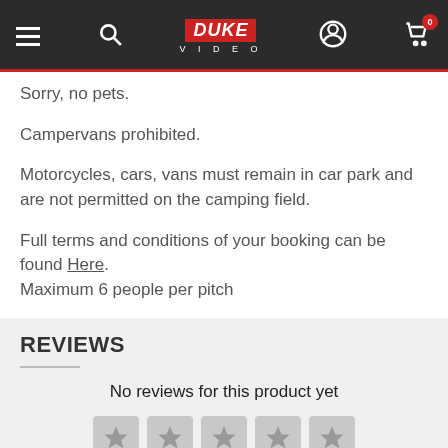Duke Video — navigation bar with hamburger menu, search, logo, user icon, cart (0)
Sorry, no pets.
Campervans prohibited.
Motorcycles, cars, vans must remain in car park and are not permitted on the camping field.
Full terms and conditions of your booking can be found Here. Maximum 6 people per pitch
REVIEWS
No reviews for this product yet